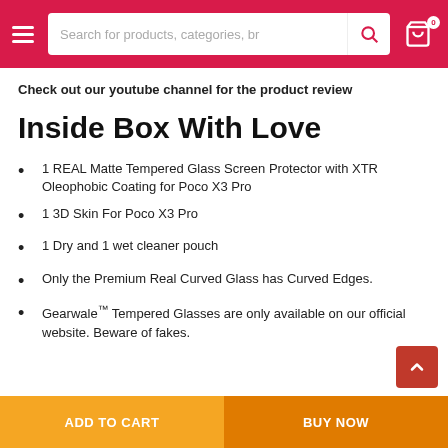Search for products, categories, br
Check out our youtube channel for the product review
Inside Box With Love
1 REAL Matte Tempered Glass Screen Protector with XTR Oleophobic Coating for Poco X3 Pro
1 3D Skin For Poco X3 Pro
1 Dry and 1 wet cleaner pouch
Only the Premium Real Curved Glass has Curved Edges.
Gearwale™ Tempered Glasses are only available on our official website. Beware of fakes.